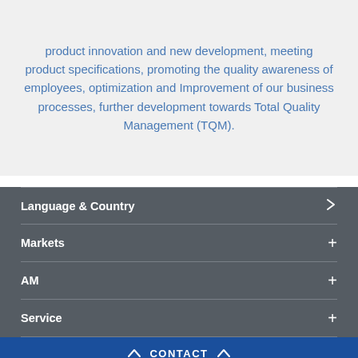product innovation and new development, meeting product specifications, promoting the quality awareness of employees, optimization and Improvement of our business processes, further development towards Total Quality Management (TQM).
Language & Country
Markets
AM
Service
CONTACT